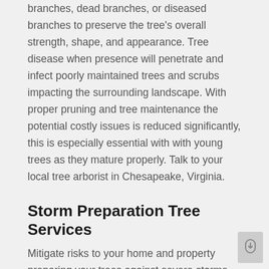branches, dead branches, or diseased branches to preserve the tree's overall strength, shape, and appearance. Tree disease when presence will penetrate and infect poorly maintained trees and scrubs impacting the surrounding landscape. With proper pruning and tree maintenance the potential costly issues is reduced significantly, this is especially essential with with young trees as they mature properly. Talk to your local tree arborist in Chesapeake, Virginia.
Storm Preparation Tree Services
Mitigate risks to your home and property preparing your trees against severe storms, hurricanes, or tornado's. Annual tree pruning and thinning will provide tremendous advantage during poor weather conditions. Trees close to homes should be inspected for health, stability, and strength to avoid catastrophic damages. Pruning is essential to minimize risks from broken or dead limbs, and